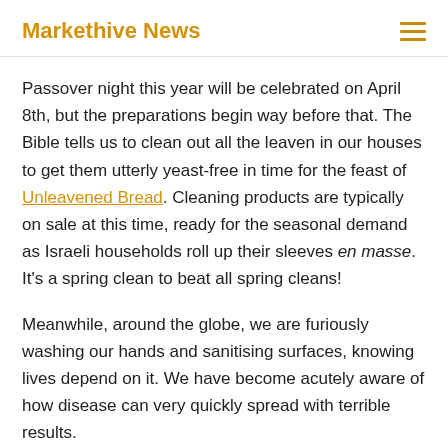Markethive News
Passover night this year will be celebrated on April 8th, but the preparations begin way before that. The Bible tells us to clean out all the leaven in our houses to get them utterly yeast-free in time for the feast of Unleavened Bread. Cleaning products are typically on sale at this time, ready for the seasonal demand as Israeli households roll up their sleeves en masse. It's a spring clean to beat all spring cleans!
Meanwhile, around the globe, we are furiously washing our hands and sanitising surfaces, knowing lives depend on it. We have become acutely aware of how disease can very quickly spread with terrible results.
And the interesting juxtaposition of Coronavirus and Passover